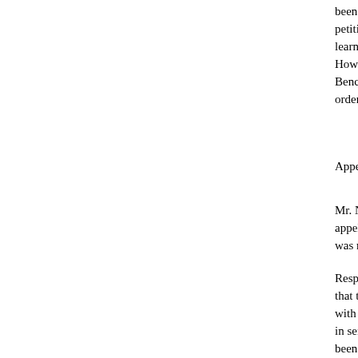been decided it by the University by which a petition came to be filed by the respondent, which learned Single Judge of the High Court by an order. However, on an intra-court appeal filed by the Bench of the said High Court allowed the said order dated 29.11.2004.
Appellant is, thus, before us.
Mr. Nidesh Gupta, the learned counsel appearing for the appellant, would submit that in term of the extension, he was not entitled to annual increments during the period.
Respondent who appeared in person, on the other hand, submitted that the Executive Council having amended the service rules with retrospective effect, he would be deemed to have been in service since 1977 and in that view of the matter, error has been committed by the High Court in directing payment only in his favour during the period he was serving the University.
It was furthermore submitted that in a similar case of one Satpal Taneja, the University had granted full benefits. Respondent would contend that merely a sum had been paid to him by the University and the rest of the amount was due, whereas in the case of the said Satpal Taneja, the full amount had been paid.
The fact that the services of the respondent were extended after the period of probation is not in dispute. He, however, after 27.09.1983 was not in the services of the University. He had, as noticed hereinbefore, neither applied for his resignation nor